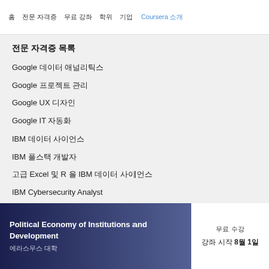홈  전문 자격증  무료 강좌  학위  기업  Coursera 소개
전문 자격증 목록
Google 데이터 애널리틱스
Google 프로젝트 관리
Google UX 디자인
Google IT 자동화
IBM 데이터 사이언스
IBM 풀스택 개발자
고급 Excel 및 R 을 IBM 데이터 사이언스
IBM Cybersecurity Analyst
IBM 데이터 분석
Political Economy of Institutions and Development
에라스무스 대학
무료 수강   강좌 시작 8월 1일